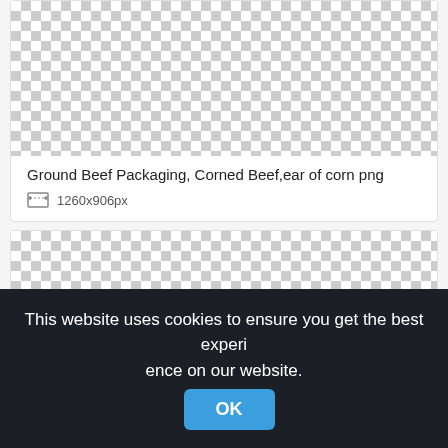[Figure (other): Checkerboard transparency pattern representing an image preview area (top card, cropped at top)]
Ground Beef Packaging, Corned Beef,ear of corn png
1260x906px
[Figure (other): Checkerboard transparency pattern representing a second image preview area]
This website uses cookies to ensure you get the best experience on our website.